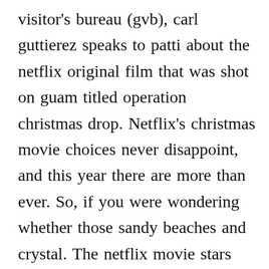visitor's bureau (gvb), carl guttierez speaks to patti about the netflix original film that was shot on guam titled operation christmas drop. Netflix's christmas movie choices never disappoint, and this year there are more than ever. So, if you were wondering whether those sandy beaches and crystal. The netflix movie stars kat graham (the vampire diaries) playing erica, a congressional aide who travels to this us territory. According to a report in the new york times, every year the american air